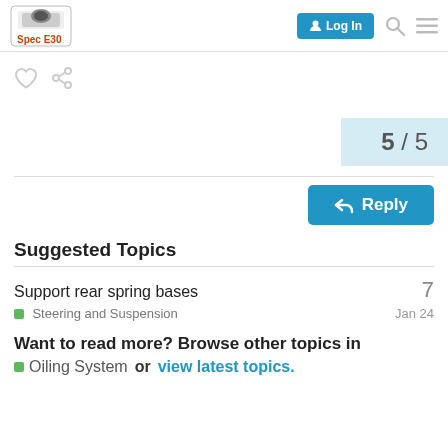Spec E30 forum — Log In
[Figure (screenshot): Heart and link icons (like and share actions)]
5 / 5
Reply
Suggested Topics
Support rear spring bases  7
Steering and Suspension  Jan 24
Want to read more? Browse other topics in Oiling System or view latest topics.